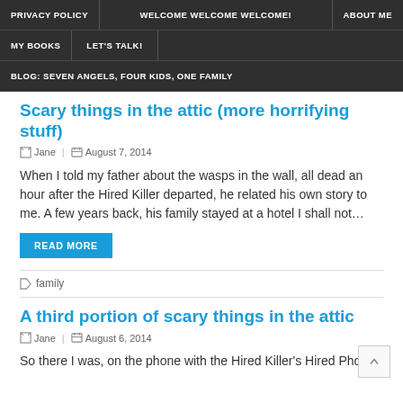PRIVACY POLICY | WELCOME WELCOME WELCOME! | ABOUT ME | MY BOOKS | LET'S TALK! | BLOG: SEVEN ANGELS, FOUR KIDS, ONE FAMILY
Scary things in the attic (more horrifying stuff)
Jane | August 7, 2014
When I told my father about the wasps in the wall, all dead an hour after the Hired Killer departed, he related his own story to me. A few years back, his family stayed at a hotel I shall not…
READ MORE
family
A third portion of scary things in the attic
Jane | August 6, 2014
So there I was, on the phone with the Hired Killer's Hired Phone